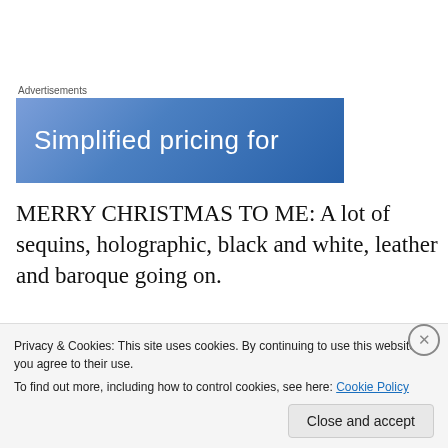Advertisements
[Figure (illustration): Blue gradient advertisement banner reading 'Simplified pricing for']
MERRY CHRISTMAS TO ME: A lot of sequins, holographic, black and white, leather and baroque going on.
[Figure (photo): Photo strip showing a light-colored fabric on the left and blue patterned fabric on the right]
Privacy & Cookies: This site uses cookies. By continuing to use this website, you agree to their use.
To find out more, including how to control cookies, see here: Cookie Policy
Close and accept